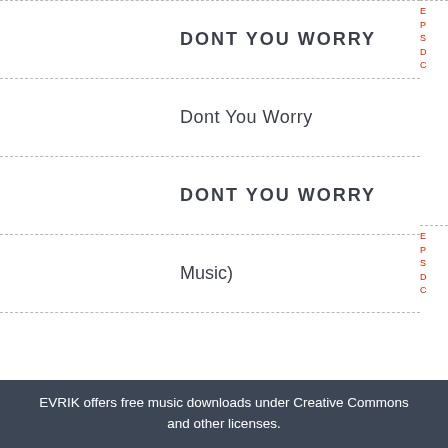DONT YOU WORRY
Dont You Worry
DONT YOU WORRY
Music)
EVRIK offers free music downloads under Creative Commons and other licenses.